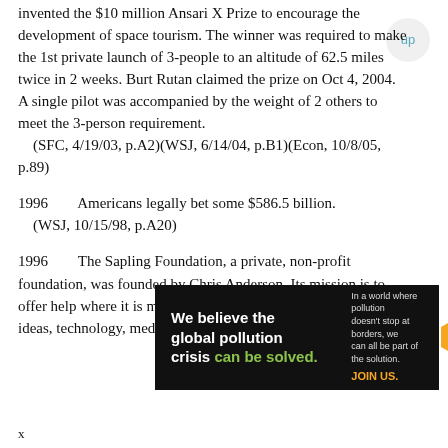invented the $10 million Ansari X Prize to encourage the development of space tourism. The winner was required to make the 1st private launch of 3-people to an altitude of 62.5 miles twice in 2 weeks. Burt Rutan claimed the prize on Oct 4, 2004. A single pilot was accompanied by the weight of 2 others to meet the 3-person requirement.
    (SFC, 4/19/03, p.A2)(WSJ, 6/14/04, p.B1)(Econ, 10/8/05, p.89)
1996        Americans legally bet some $586.5 billion.
    (WSJ, 10/15/98, p.A20)
1996        The Sapling Foundation, a private, non-profit foundation, was founded by Chris Anderson. Its mission is to offer help where it is most needed by leveraging the power of ideas, technology, media and markets. In 2001 it
[Figure (other): Pure Earth advertisement banner: 'We believe the global pollution crisis can be solved.' with Pure Earth logo]